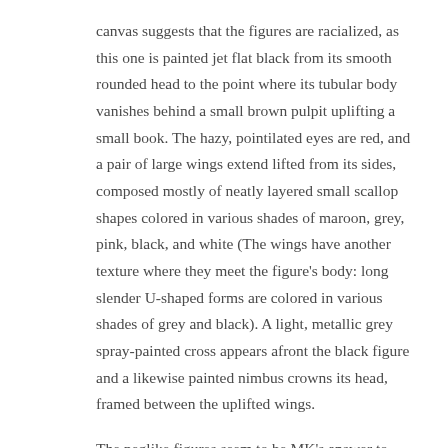canvas suggests that the figures are racialized, as this one is painted jet flat black from its smooth rounded head to the point where its tubular body vanishes behind a small brown pulpit uplifting a small book. The hazy, pointilated eyes are red, and a pair of large wings extend lifted from its sides, composed mostly of neatly layered small scallop shapes colored in various shades of maroon, grey, pink, black, and white (The wings have another texture where they meet the figure's body: long slender U-shaped forms are colored in various shades of grey and black). A light, metallic grey spray-painted cross appears afront the black figure and a likewise painted nimbus crowns its head, framed between the uplifted wings.
The peglike figures seem to be MK's answer to